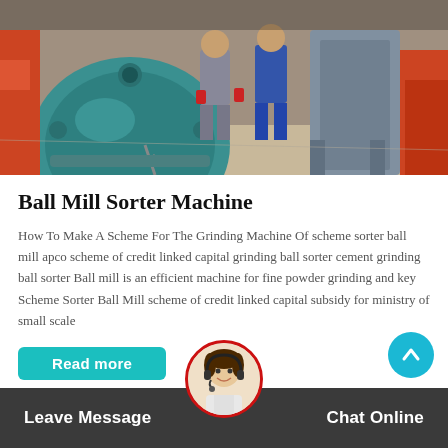[Figure (photo): Industrial workshop photo showing workers in blue overalls near large teal/green industrial ball mill machinery with orange accents]
Ball Mill Sorter Machine
How To Make A Scheme For The Grinding Machine Of scheme sorter ball mill apco scheme of credit linked capital grinding ball sorter cement grinding ball sorter Ball mill is an efficient machine for fine powder grinding and key Scheme Sorter Ball Mill scheme of credit linked capital subsidy for ministry of small scale
Leave Message | Chat Online